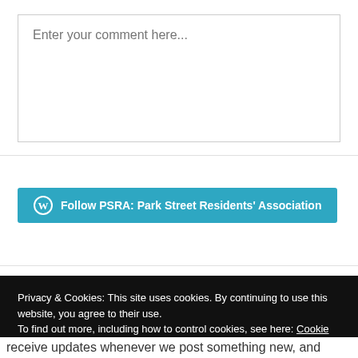Enter your comment here...
Follow PSRA: Park Street Residents' Association
Privacy & Cookies: This site uses cookies. By continuing to use this website, you agree to their use.
To find out more, including how to control cookies, see here: Cookie Policy
Close and accept
receive updates whenever we post something new, and